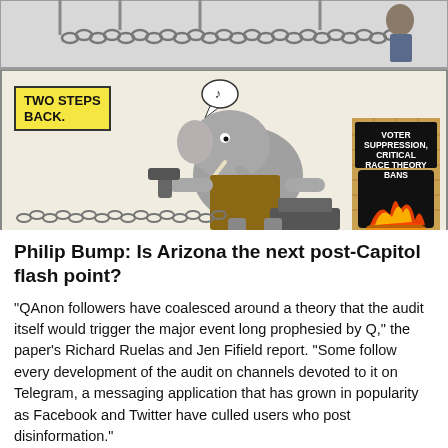[Figure (illustration): Political cartoon in two panels. Top panel shows a chain suspended from above. Bottom panel shows a Republican elephant (GOP mascot) wearing an apron, forging a chain at a blacksmith forge labeled 'VOTER SUPPRESSION, CRITICAL RACE THEORY BANS'. A speech bubble with a musical note floats nearby. A yellow sign in the top-left reads 'TWO STEPS BACK.' A long chain extends along the ground to the left.]
Philip Bump: Is Arizona the next post-Capitol flash point?
“QAnon followers have coalesced around a theory that the audit itself would trigger the major event long prophesied by Q,” the paper’s Richard Ruelas and Jen Fifield report. “Some follow every development of the audit on channels devoted to it on Telegram, a messaging application that has grown in popularity as Facebook and Twitter have culled users who post disinformation.”
The idea, in essence, is that the Arizona review will